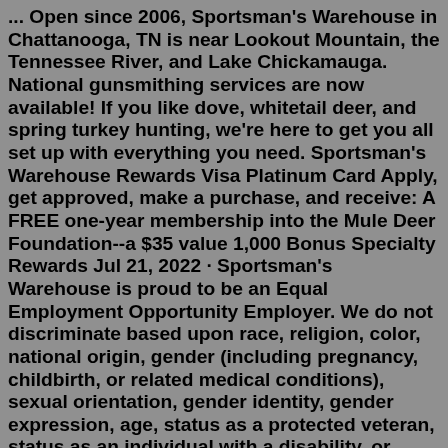... Open since 2006, Sportsman's Warehouse in Chattanooga, TN is near Lookout Mountain, the Tennessee River, and Lake Chickamauga. National gunsmithing services are now available! If you like dove, whitetail deer, and spring turkey hunting, we're here to get you all set up with everything you need. Sportsman's Warehouse Rewards Visa Platinum Card Apply, get approved, make a purchase, and receive: A FREE one-year membership into the Mule Deer Foundation--a $35 value 1,000 Bonus Specialty Rewards Jul 21, 2022 · Sportsman's Warehouse is proud to be an Equal Employment Opportunity Employer. We do not discriminate based upon race, religion, color, national origin, gender (including pregnancy, childbirth, or related medical conditions), sexual orientation, gender identity, gender expression, age, status as a protected veteran, status as an individual with a disability, or other applicable legally ... Program Operation. You must present your Sportsman's Warehouse Explorewards Loyalty card with every purchase in order to assure accurate...